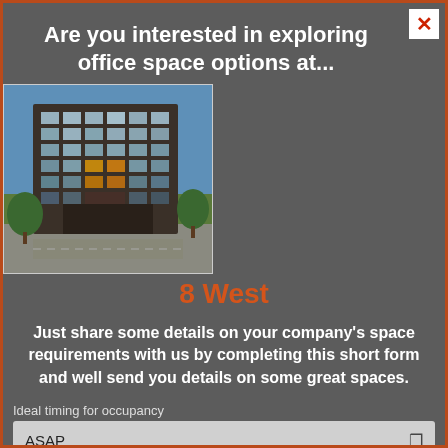Are you interested in exploring office space options at...
[Figure (photo): Aerial/perspective rendering of a modern multi-story glass office building called 8 West, surrounded by greenery and parking.]
8 West
Just share some details on your company's space requirements with us by completing this short form and well send you details on some great spaces.
Ideal timing for occupancy
ASAP
Ideal space size (SF)?